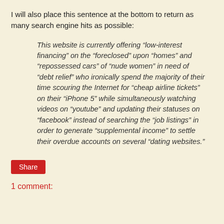I will also place this sentence at the bottom to return as many search engine hits as possible:
This website is currently offering “low-interest financing” on the “foreclosed” upon “homes” and “repossessed cars” of “nude women” in need of “debt relief” who ironically spend the majority of their time scouring the Internet for “cheap airline tickets” on their “iPhone 5” while simultaneously watching videos on “youtube” and updating their statuses on “facebook” instead of searching the “job listings” in order to generate “supplemental income” to settle their overdue accounts on several “dating websites.”
Share
1 comment: